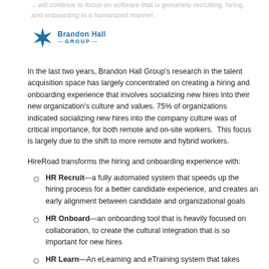…will continue to focus on software that is genuinely recruiting, hiring, and onboarding in a humanized manner.
[Figure (logo): Brandon Hall Group logo with blue X star icon and text 'Brandon Hall GROUP']
In the last two years, Brandon Hall Group's research in the talent acquisition space has largely concentrated on creating a hiring and onboarding experience that involves socializing new hires into their new organization's culture and values. 75% of organizations indicated socializing new hires into the company culture was of critical importance, for both remote and on-site workers.  This focus is largely due to the shift to more remote and hybrid workers.
HireRoad transforms the hiring and onboarding experience with:
HR Recruit—a fully automated system that speeds up the hiring process for a better candidate experience, and creates an early alignment between candidate and organizational goals
HR Onboard—an onboarding tool that is heavily focused on collaboration, to create the cultural integration that is so important for new hires
HR Learn—An eLearning and eTraining system that takes new…